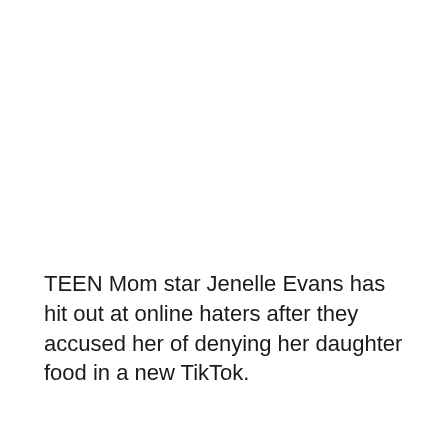TEEN Mom star Jenelle Evans has hit out at online haters after they accused her of denying her daughter food in a new TikTok.